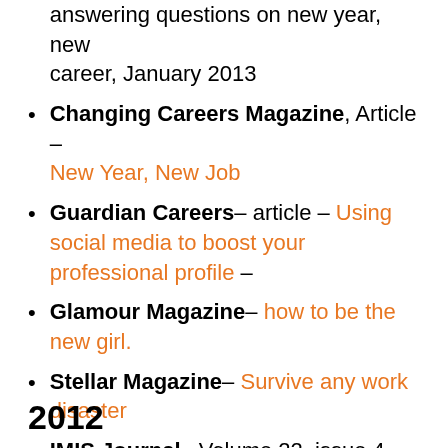answering questions on new year, new career, January 2013
Changing Careers Magazine, Article – New Year, New Job
Guardian Careers– article – Using social media to boost your professional profile –
Glamour Magazine– how to be the new girl.
Stellar Magazine– Survive any work disaster
IMIS Journal– Volume 22, issue 4 – Top tips for Video Interviews.
2012